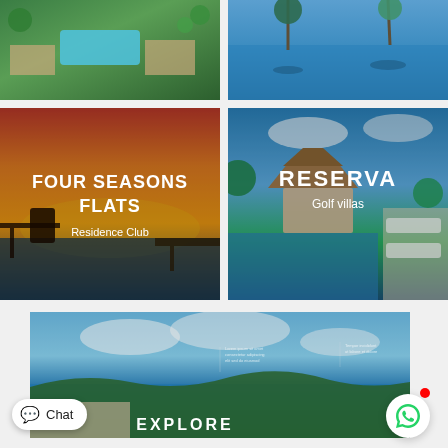[Figure (photo): Aerial view of resort with swimming pool and tropical greenery]
[Figure (photo): Aerial view of resort pool reflecting water and palm trees]
[Figure (photo): Four Seasons Flats - Residence Club card with sunset terrace dining scene and text overlay: FOUR SEASONS FLATS / Residence Club]
[Figure (photo): Reserva Golf Villas card with thatched-roof villa and pool scene and text overlay: RESERVA / Golf villas]
[Figure (photo): Wide panoramic aerial photo of bay and coastline with text EXPLORE and small legend text]